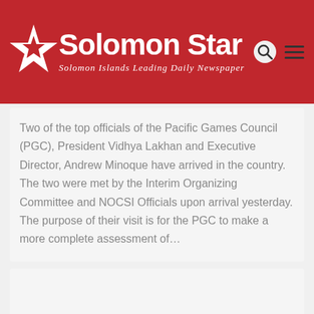Solomon Star — Solomon Islands Leading Daily Newspaper
Two of the top officials of the Pacific Games Council (PGC), President Vidhya Lakhan and Executive Director, Andrew Minoque have arrived in the country. The two were met by the Interim Organizing Committee and NOCSI Officials upon arrival yesterday. The purpose of their visit is for the PGC to make a more complete assessment of…
[Figure (other): Empty grey card area with a scroll-to-top button at the bottom right corner]